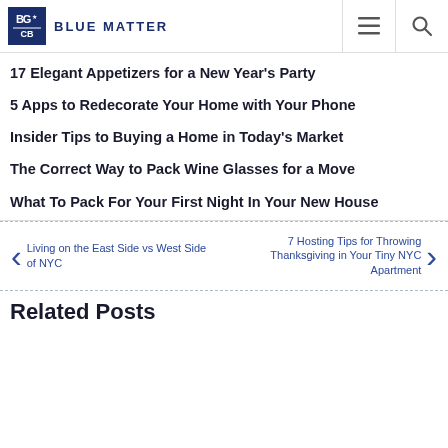BLUE MATTER
17 Elegant Appetizers for a New Year's Party
5 Apps to Redecorate Your Home with Your Phone
Insider Tips to Buying a Home in Today's Market
The Correct Way to Pack Wine Glasses for a Move
What To Pack For Your First Night In Your New House
← Living on the East Side vs West Side of NYC
7 Hosting Tips for Throwing Thanksgiving in Your Tiny NYC Apartment →
Related Posts